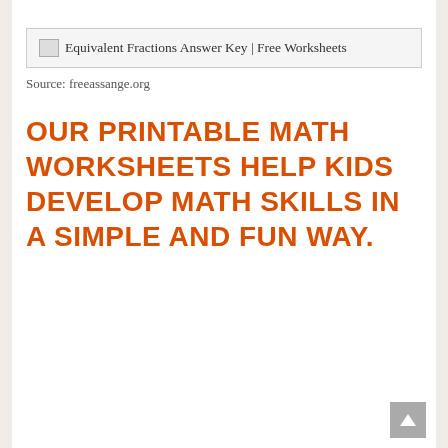[Figure (screenshot): Broken image placeholder with text: Equivalent Fractions Answer Key | Free Worksheets]
Source: freeassange.org
OUR PRINTABLE MATH WORKSHEETS HELP KIDS DEVELOP MATH SKILLS IN A SIMPLE AND FUN WAY.